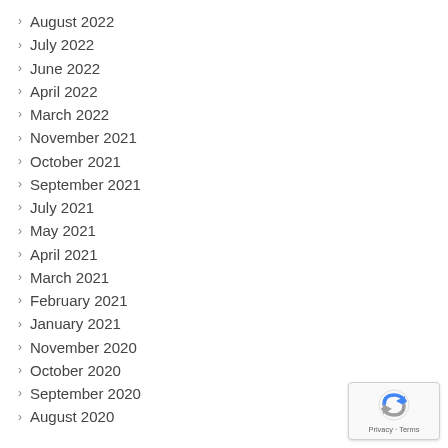August 2022
July 2022
June 2022
April 2022
March 2022
November 2021
October 2021
September 2021
July 2021
May 2021
April 2021
March 2021
February 2021
January 2021
November 2020
October 2020
September 2020
August 2020
[Figure (logo): reCAPTCHA badge with Privacy and Terms text]